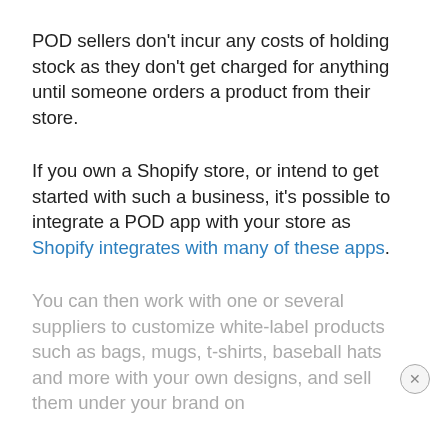POD sellers don't incur any costs of holding stock as they don't get charged for anything until someone orders a product from their store.
If you own a Shopify store, or intend to get started with such a business, it's possible to integrate a POD app with your store as Shopify integrates with many of these apps.
You can then work with one or several suppliers to customize white-label products such as bags, mugs, t-shirts, baseball hats and more with your own designs, and sell them under your brand on